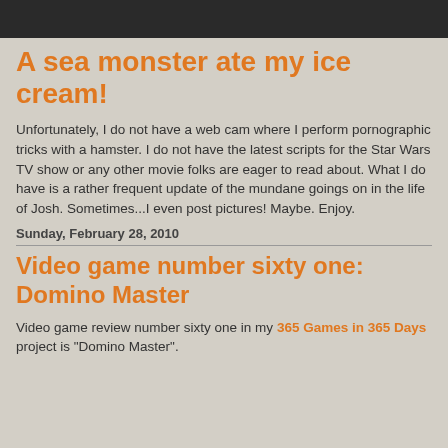A sea monster ate my ice cream!
Unfortunately, I do not have a web cam where I perform pornographic tricks with a hamster. I do not have the latest scripts for the Star Wars TV show or any other movie folks are eager to read about. What I do have is a rather frequent update of the mundane goings on in the life of Josh. Sometimes...I even post pictures! Maybe. Enjoy.
Sunday, February 28, 2010
Video game number sixty one: Domino Master
Video game review number sixty one in my 365 Games in 365 Days project is "Domino Master".